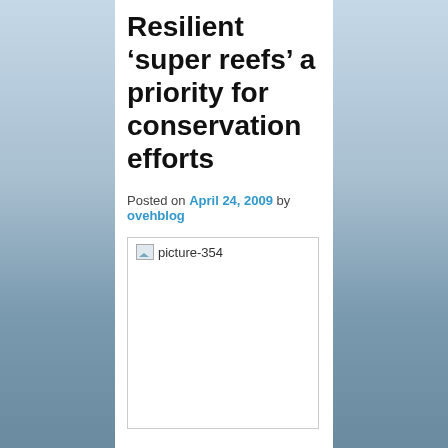Resilient ‘super reefs’ a priority for conservation efforts
Posted on April 24, 2009 by ovehblog
[Figure (photo): Broken/missing image placeholder labeled 'picture-354']